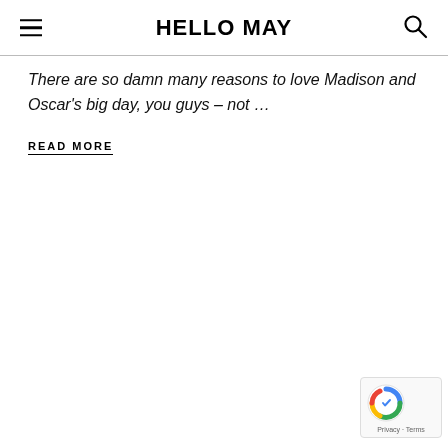HELLO MAY
There are so damn many reasons to love Madison and Oscar's big day, you guys – not …
READ MORE